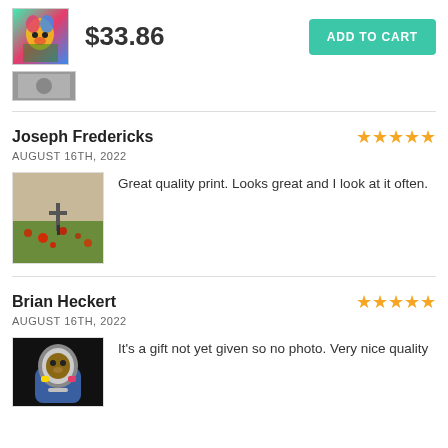$33.86  ADD TO CART
Joseph Fredericks
AUGUST 16TH, 2022
Great quality print. Looks great and I look at it often.
Brian Heckert
AUGUST 16TH, 2022
It's a gift not yet given so no photo. Very nice quality